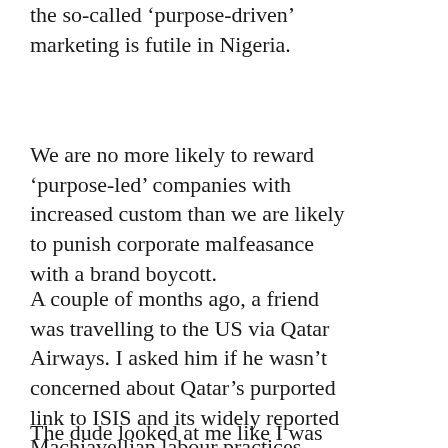the so-called ‘purpose-driven’ marketing is futile in Nigeria.
We are no more likely to reward ‘purpose-led’ companies with increased custom than we are likely to punish corporate malfeasance with a brand boycott.
A couple of months ago, a friend was travelling to the US via Qatar Airways. I asked him if he wasn’t concerned about Qatar’s purported link to ISIS and its widely reported Machiavellian labour practices.
The dude looked at me like I was